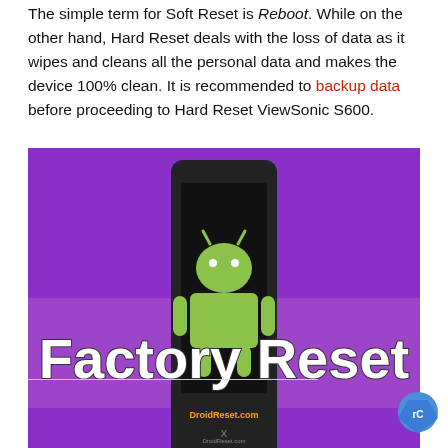The simple term for Soft Reset is Reboot. While on the other hand, Hard Reset deals with the loss of data as it wipes and cleans all the personal data and makes the device 100% clean. It is recommended to backup data before proceeding to Hard Reset ViewSonic S600.
[Figure (screenshot): A smartphone displaying the Android robot mascot with DroidReset.com text on its screen, overlaid with large white text 'Factory Reset' on a purple background.]
[Figure (logo): Partial reCAPTCHA logo in the bottom right corner.]